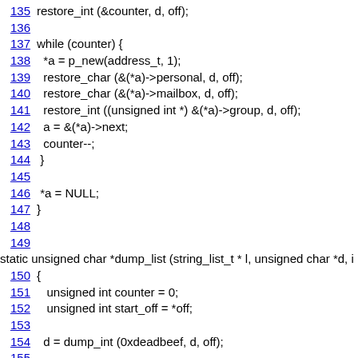135 restore_int (&counter, d, off);
136
137 while (counter) {
138   *a = p_new(address_t, 1);
139   restore_char (&(*a)->personal, d, off);
140   restore_char (&(*a)->mailbox, d, off);
141   restore_int ((unsigned int *) &(*a)->group, d, off);
142   a = &(*a)->next;
143   counter--;
144 }
145
146 *a = NULL;
147 }
148
149
static unsigned char *dump_list (string_list_t * l, unsigned char *d, i
150 {
151   unsigned int counter = 0;
152   unsigned int start_off = *off;
153
154   d = dump_int (0xdeadbeef, d, off);
155
156   while (l) {
157     d = dump_char (l->data, d, off);
158     l = l->next;